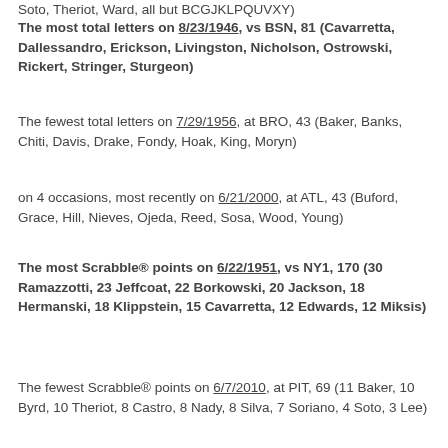Soto, Theriot, Ward, all but BCGJKLPQUVXY)
The most total letters on 8/23/1946, vs BSN, 81 (Cavarretta, Dallessandro, Erickson, Livingston, Nicholson, Ostrowski, Rickert, Stringer, Sturgeon)
The fewest total letters on 7/29/1956, at BRO, 43 (Baker, Banks, Chiti, Davis, Drake, Fondy, Hoak, King, Moryn)
on 4 occasions, most recently on 6/21/2000, at ATL, 43 (Buford, Grace, Hill, Nieves, Ojeda, Reed, Sosa, Wood, Young)
The most Scrabble® points on 6/22/1951, vs NY1, 170 (30 Ramazzotti, 23 Jeffcoat, 22 Borkowski, 20 Jackson, 18 Hermanski, 18 Klippstein, 15 Cavarretta, 12 Edwards, 12 Miksis)
The fewest Scrabble® points on 6/7/2010, at PIT, 69 (11 Baker, 10 Byrd, 10 Theriot, 8 Castro, 8 Nady, 8 Silva, 7 Soriano, 4 Soto, 3 Lee)
on 3 occasions, most recently on 6/17/2010, vs OAK, 69 (11 Baker, 10 Byrd, 10 Theriot, 8 Castro, 8 Nady, 8 Wells, 7 Soriano, 4 Soto, 3 Lee)
Unique occurrences in bold. Includes all games played 1919-2010. The information used here was obtained free of charge from and is copyrighted by Retrosheet. Interested parties may contact Retrosheet at "www.retrosheet.org".